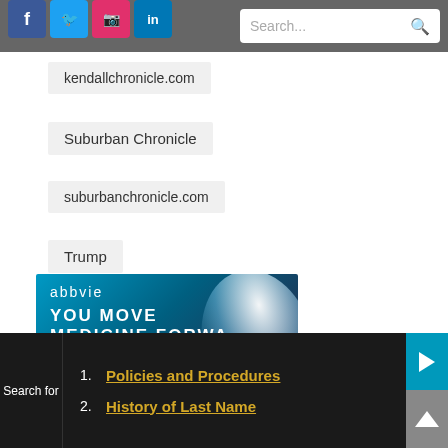[Figure (screenshot): Top navigation bar with social media icons (Facebook, Twitter, Instagram, LinkedIn) and a search bar]
kendallchronicle.com
Suburban Chronicle
suburbanchronicle.com
Trump
[Figure (photo): AbbVie advertisement banner with text: abbvie, YOU MOVE MEDICINE FORWARD, Take part in a clinical study]
Search for
1. Policies and Procedures
2. History of Last Name